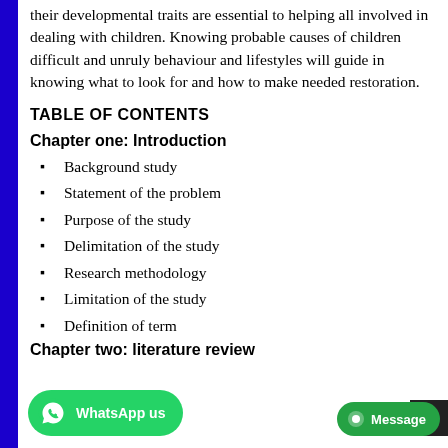their developmental traits are essential to helping all involved in dealing with children. Knowing probable causes of children difficult and unruly behaviour and lifestyles will guide in knowing what to look for and how to make needed restoration.
TABLE OF CONTENTS
Chapter one: Introduction
Background study
Statement of the problem
Purpose of the study
Delimitation of the study
Research methodology
Limitation of the study
Definition of term
Chapter two: literature review